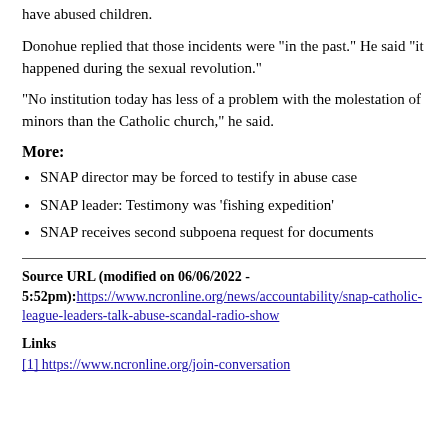have abused children.
Donohue replied that those incidents were "in the past." He said "it happened during the sexual revolution."
"No institution today has less of a problem with the molestation of minors than the Catholic church," he said.
More:
SNAP director may be forced to testify in abuse case
SNAP leader: Testimony was 'fishing expedition'
SNAP receives second subpoena request for documents
Source URL (modified on 06/06/2022 - 5:52pm): https://www.ncronline.org/news/accountability/snap-catholic-league-leaders-talk-abuse-scandal-radio-show
Links
[1] https://www.ncronline.org/join-conversation